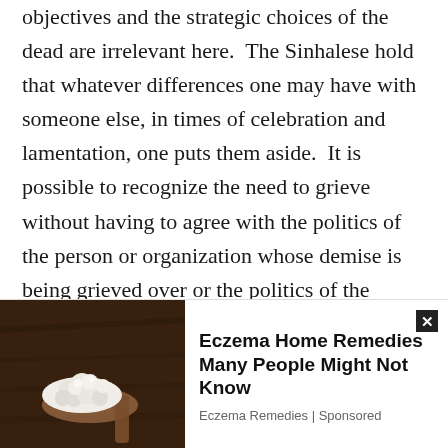objectives and the strategic choices of the dead are irrelevant here.  The Sinhalese hold that whatever differences one may have with someone else, in times of celebration and lamentation, one puts them aside.  It is possible to recognize the need to grieve without having to agree with the politics of the person or organization whose demise is being grieved over or the politics of the grieving.  That's where humanity is tested.  And it is in the affirmation of that humanity that Governments stand taller, commonalities are recognized and communities are forged.  Erasure wrecks all that.
[Figure (photo): Advertisement banner showing a photo of white cauliflower-like food on a wooden spoon against a dark wooden background, with text 'Eczema Home Remedies Many People Might Not Know' from Eczema Remedies | Sponsored]